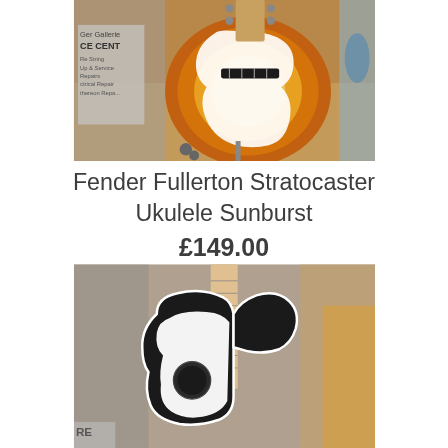[Figure (photo): Close-up photo of a Fender Fullerton Stratocaster Ukulele in Sunburst finish, showing the body and soundhole, displayed in a music store.]
Fender Fullerton Stratocaster Ukulele Sunburst
£149.00
[Figure (photo): Close-up photo of a Fender ukulele in black and white finish (Telecaster style), showing the body and neck, displayed in a music store.]